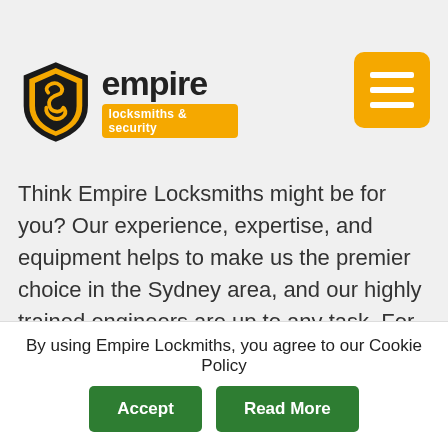soon as possible. Our emergency locksmith... whether it's 4pm or... wait. These services... hurt your wallet either!
[Figure (logo): Empire Locksmiths & Security logo — orange shield with stylized S, bold 'empire' text, orange banner reading 'locksmiths & security']
Think Empire Locksmiths might be for you? Our experience, expertise, and equipment helps to make us the premier choice in the Sydney area, and our highly trained engineers are up to any task. For more information regarding our locksmith services in Parramatta, please call 1300 858 828 now or email ray@empirelocks.com.au today. If you'd like to see
By using Empire Lockmiths, you agree to our Cookie Policy
Accept | Read More